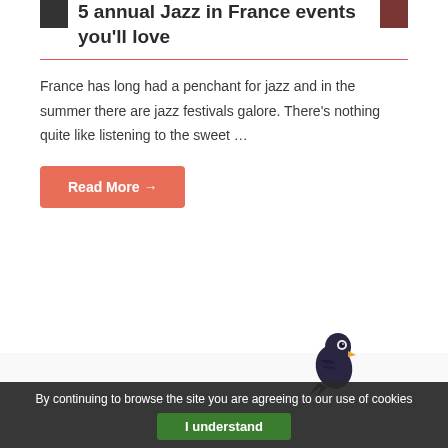5 annual Jazz in France events you'll love
France has long had a penchant for jazz and in the summer there are jazz festivals galore. There's nothing quite like listening to the sweet ...
Read More →
[Figure (illustration): Cartoon bird illustration in bottom right area of page]
By continuing to browse the site you are agreeing to our use of cookies
I understand